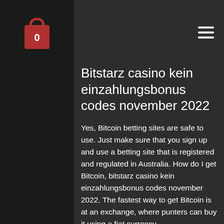[Figure (illustration): Red shopping bag icon with number 0 on a dark sidebar]
Bitstarz casino kein einzahlungsbonus codes november 2022
Yes, Bitcoin betting sites are safe to use. Just make sure that you sign up and use a betting site that is registered and regulated in Australia. How do I get Bitcoin, bitstarz casino kein einzahlungsbonus codes november 2022. The fastest way to get Bitcoin is at an exchange, where punters can buy it using a fiat currency.
Source: The Crypto Gambling Foundation, bitstarz casino kein einzahlungsbonus codes november 2022.
The crucial next step in the development of Bitbook. Users should be able to add their